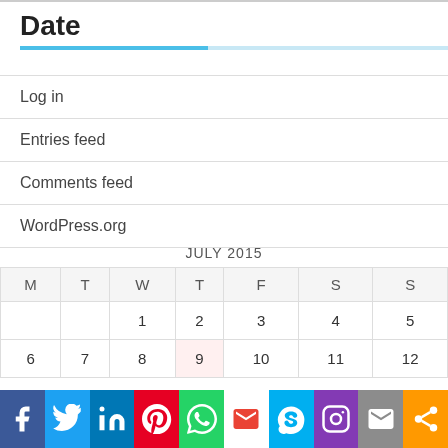Date
Log in
Entries feed
Comments feed
WordPress.org
| M | T | W | T | F | S | S |
| --- | --- | --- | --- | --- | --- | --- |
|  |  | 1 | 2 | 3 | 4 | 5 |
| 6 | 7 | 8 | 9 | 10 | 11 | 12 |
[Figure (other): Social media sharing bar with icons: Facebook, Twitter, LinkedIn, Pinterest, WhatsApp, Gmail, Skype, Instagram, Mail, Share]